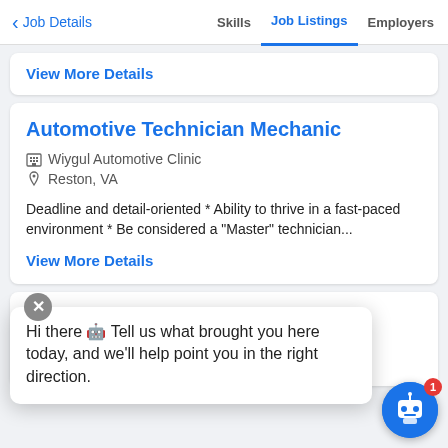< Job Details   Skills   Job Listings   Employers
View More Details
Automotive Technician Mechanic
Wiygul Automotive Clinic
Reston, VA
Deadline and detail-oriented * Ability to thrive in a fast-paced environment * Be considered a "Master" technician...
View More Details
Experien
Meinek
McLean, ...
Hi there 🤖 Tell us what brought you here today, and we'll help point you in the right direction.